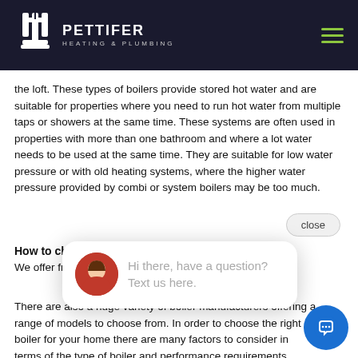PETTIFER HEATING & PLUMBING
the loft. These types of boilers provide stored hot water and are suitable for properties where you need to run hot water from multiple taps or showers at the same time. These systems are often used in properties with more than one bathroom and where a lot water needs to be used at the same time. They are suitable for low water pressure or with old heating systems, where the higher water pressure provided by combi or system boilers may be too much.
How to choose t
We offer free prof
[Figure (screenshot): Chat popup widget showing a woman avatar and text 'Hi there, have a question? Text us here.']
There are also a huge variety of boiler manufacturers offering a range of models to choose from. In order to choose the right boiler for your home there are many factors to consider in terms of the type of boiler and performance requirements before you can consider specific models that may be most